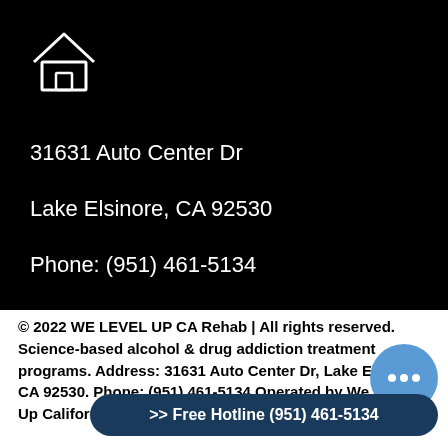[Figure (illustration): White outline house/home icon on black background]
31631 Auto Center Dr
Lake Elsinore, CA 92530
Phone: (951) 461-5134
© 2022 WE LEVEL UP CA Rehab | All rights reserved. Science-based alcohol & drug addiction treatment programs. Address: 31631 Auto Center Dr, Lake Elsinore, CA 92530. Phone: (951) 461-5134 Operated by We Level Up California LLC and treatment center.